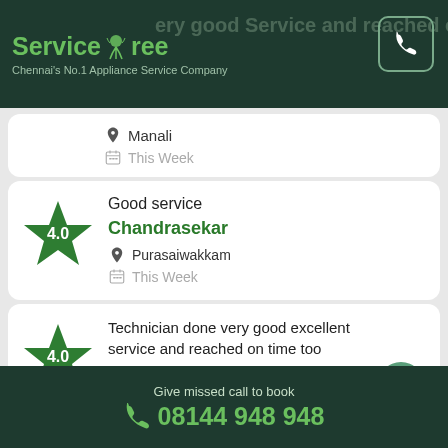ServiceTree - Chennai's No.1 Appliance Service Company
Technician done very good service and reached on time (partially visible at top)
Manali
This Week
Good service
Chandrasekar
Purasaiwakkam
This Week
Technician done very good excellent service and reached on time too
Jaikumar
Give missed call to book 08144 948 948